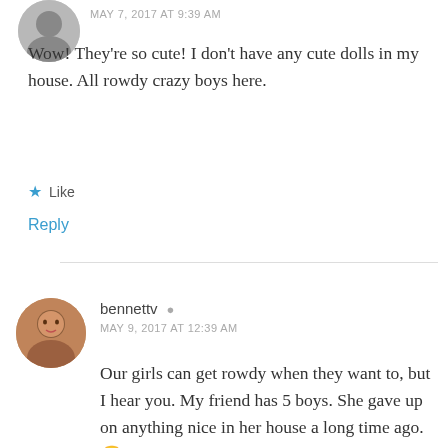MAY 7, 2017 AT 9:39 AM
Wow! They're so cute! I don't have any cute dolls in my house. All rowdy crazy boys here.
★ Like
Reply
bennettv  MAY 9, 2017 AT 12:39 AM
Our girls can get rowdy when they want to, but I hear you. My friend has 5 boys. She gave up on anything nice in her house a long time ago. 🙂